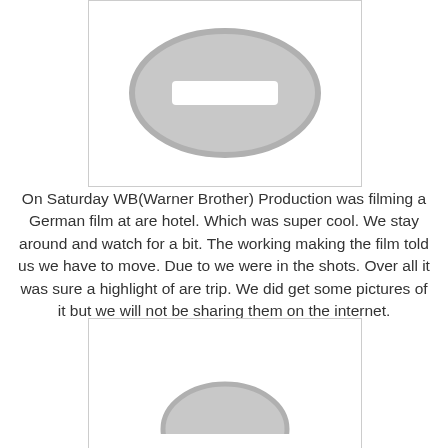[Figure (illustration): A placeholder image box with a grey oval/ellipse shape containing a white horizontal bar (minus/stop sign icon) centered on a white background.]
On Saturday WB(Warner Brother) Production was filming a German film at are hotel. Which was super cool. We stay around and watch for a bit. The working making the film told us we have to move. Due to we were in the shots. Over all it was sure a highlight of are trip. We did get some pictures of it but we will not be sharing them on the internet.
[Figure (illustration): A second placeholder image box, partially visible at the bottom of the page, with a grey ellipse/oval icon partially visible at the bottom edge.]